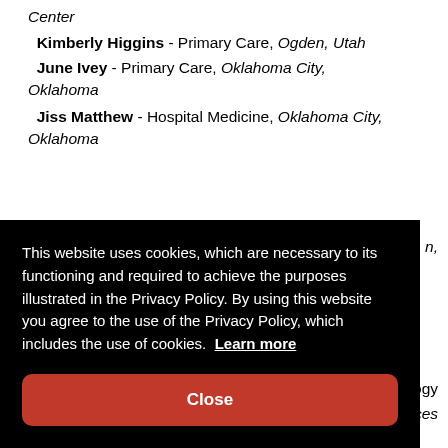Center
Kimberly Higgins - Primary Care, Ogden, Utah
June Ivey - Primary Care, Oklahoma City, Oklahoma
Jiss Matthew - Hospital Medicine, Oklahoma City, Oklahoma
[Figure (screenshot): Cookie consent overlay with black background. Text reads: 'This website uses cookies, which are necessary to its functioning and required to achieve the purposes illustrated in the Privacy Policy. By using this website you agree to the use of the Privacy Policy, which includes the use of cookies. Learn more'. Red 'Close' button at bottom.]
n,
logy
ces
ces